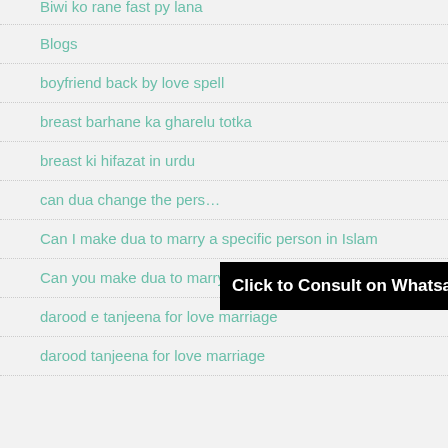Biwi ko rane fast py lana
Blogs
boyfriend back by love spell
breast barhane ka gharelu totka
breast ki hifazat in urdu
can dua change the pers…
[Figure (screenshot): Black banner overlay reading 'Click to Consult on Whatsapp']
Can I make dua to marry a specific person in Islam
Can you make dua to marry someone
darood e tanjeena for love marriage
darood tanjeena for love marriage